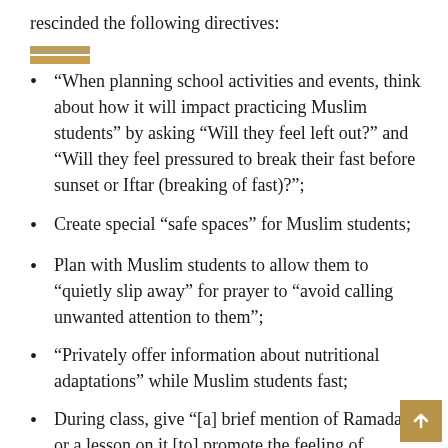rescinded the following directives:
“When planning school activities and events, think about how it will impact practicing Muslim students” by asking “Will they feel left out?” and “Will they feel pressured to break their fast before sunset or Iftar (breaking of fast)?”;
Create special “safe spaces” for Muslim students;
Plan with Muslim students to allow them to “quietly slip away” for prayer to “avoid calling unwanted attention to them”;
“Privately offer information about nutritional adaptations” while Muslim students fast;
During class, give “[a] brief mention of Ramadan or a lesson on it [to] promote the feeling of inclusivity”